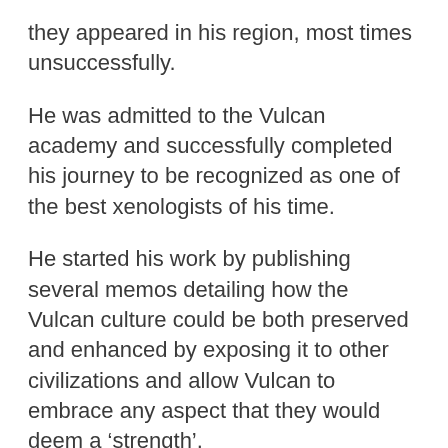they appeared in his region, most times unsuccessfully.
He was admitted to the Vulcan academy and successfully completed his journey to be recognized as one of the best xenologists of his time.
He started his work by publishing several memos detailing how the Vulcan culture could be both preserved and enhanced by exposing it to other civilizations and allow Vulcan to embrace any aspect that they would deem a ‘strength’.
Although his reports obtained a moderate success, he was not able to influence a change in the Vulcan life yet.
It was then, that he decided to attend Starfleet